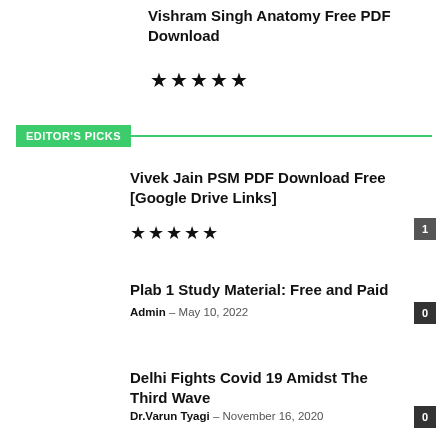Vishram Singh Anatomy Free PDF Download
★★★★★
EDITOR'S PICKS
Vivek Jain PSM PDF Download Free [Google Drive Links]
★★★★★
Plab 1 Study Material: Free and Paid
Admin - May 10, 2022
Delhi Fights Covid 19 Amidst The Third Wave
Dr.Varun Tyagi - November 16, 2020